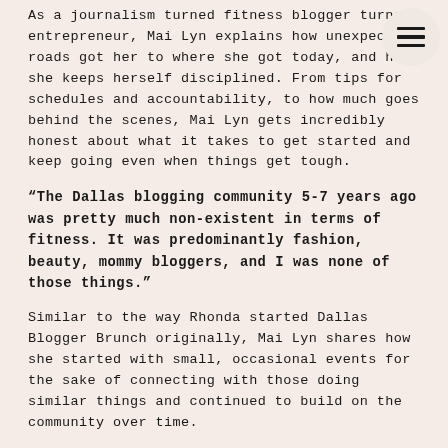As a journalism turned fitness blogger turned entrepreneur, Mai Lyn explains how unexpected roads got her to where she got today, and how she keeps herself disciplined. From tips for schedules and accountability, to how much goes behind the scenes, Mai Lyn gets incredibly honest about what it takes to get started and keep going even when things get tough.
“The Dallas blogging community 5-7 years ago was pretty much non-existent in terms of fitness. It was predominantly fashion, beauty, mommy bloggers, and I was none of those things.”
Similar to the way Rhonda started Dallas Blogger Brunch originally, Mai Lyn shares how she started with small, occasional events for the sake of connecting with those doing similar things and continued to build on the community over time.
Mai Lyn goes into specifics about how she pivoted in 2020, creating virtual events that were unique, layered, and high quality. Rhonda and Mai Lyn share the same concerns with